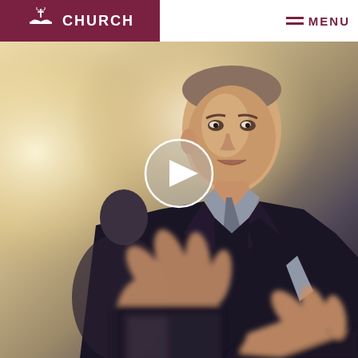CHURCH | MENU
[Figure (screenshot): A video thumbnail showing a man in a dark suit gesturing with his hands, appearing to speak. A white play button circle overlay is centered in the upper portion of the image. The background is a warm beige/tan wall. The image is a video player screenshot from a church website.]